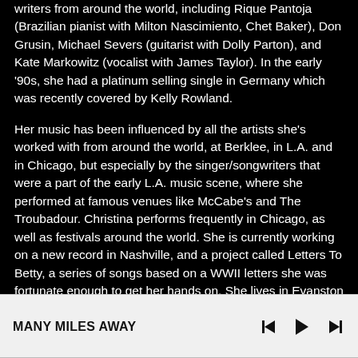writers from around the world, including Rique Pantoja (Brazilian pianist with Milton Nascimiento, Chet Baker), Don Grusin, Michael Severs (guitarist with Dolly Parton), and Kate Markowitz (vocalist with James Taylor). In the early '90s, she had a platinum selling single in Germany which was recently covered by Kelly Rowland.

Her music has been influenced by all the artists she's worked with from around the world, at Berklee, in L.A. and in Chicago, but especially by the singer/songwriters that were a part of the early L.A. music scene, where she performed at famous venues like McCabe's and The Troubadour. Christina performs frequently in Chicago, as well as festivals around the world. She is currently working on a new record in Nashville, and a project called Letters To Betty, a series of songs based on a WWII letters she was fortunate enough to get her hands on. She lives in Evanston with her husband, their two children, a dog named Angus and a cat named Mordy, and has finally figured out how to survive the winter
MANY MILES AWAY